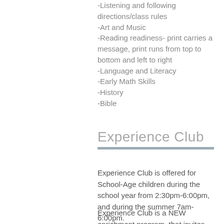-Listening and following directions/class rules
-Art and Music
-Reading readiness- print carries a message, print runs from top to bottom and left to right
-Language and Literacy
-Early Math Skills
-History
-Bible
Experience Club
Experience Club is offered for School-Age children during the school year from 2:30pm-6:00pm, and during the summer 7am-6:00pm.
Experience Club is a NEW enrichment program  that invites children ages 5-12